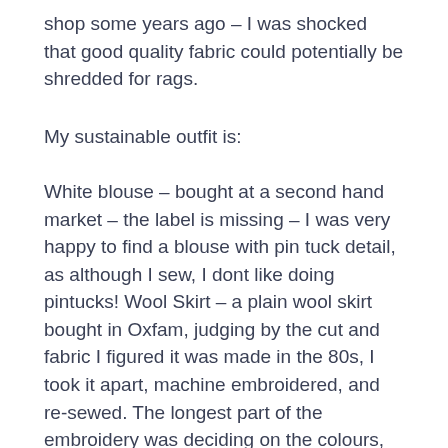shop some years ago – I was shocked that good quality fabric could potentially be shredded for rags.
My sustainable outfit is:
White blouse – bought at a second hand market – the label is missing – I was very happy to find a blouse with pin tuck detail, as although I sew, I dont like doing pintucks! Wool Skirt – a plain wool skirt bought in Oxfam, judging by the cut and fabric I figured it was made in the 80s, I took it apart, machine embroidered, and re-sewed. The longest part of the embroidery was deciding on the colours, the quality of the wool is amazing and